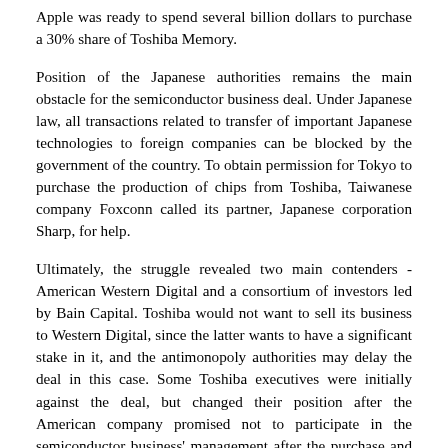Apple was ready to spend several billion dollars to purchase a 30% share of Toshiba Memory.
Position of the Japanese authorities remains the main obstacle for the semiconductor business deal. Under Japanese law, all transactions related to transfer of important Japanese technologies to foreign companies can be blocked by the government of the country. To obtain permission for Tokyo to purchase the production of chips from Toshiba, Taiwanese company Foxconn called its partner, Japanese corporation Sharp, for help.
Ultimately, the struggle revealed two main contenders - American Western Digital and a consortium of investors led by Bain Capital. Toshiba would not want to sell its business to Western Digital, since the latter wants to have a significant stake in it, and the antimonopoly authorities may delay the deal in this case. Some Toshiba executives were initially against the deal, but changed their position after the American company promised not to participate in the semiconductor business' management after the purchase and limit its share in it to a maximum of 33%.